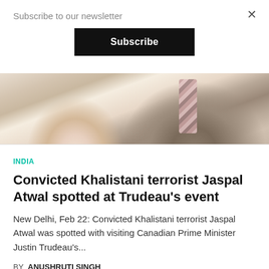Subscribe to our newsletter
Subscribe
[Figure (photo): A partially cropped photo showing two people; a woman in a light-coloured top on the left and a man in a brown suit with a striped tie on the right.]
INDIA
Convicted Khalistani terrorist Jaspal Atwal spotted at Trudeau's event
New Delhi, Feb 22: Convicted Khalistani terrorist Jaspal Atwal was spotted with visiting Canadian Prime Minister Justin Trudeau's...
BY ANUSHRUTI SINGH